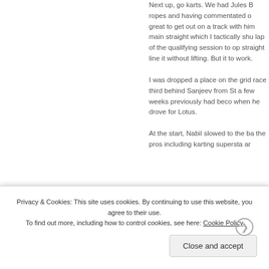Next up, go karts. We had Jules B ropes and having commentated o great to get out on a track with hin main straight which I tactically shu lap of the qualifying session to op straight line it without lifting. But it to work.
I was dropped a place on the grid race third behind Sanjeev from St a few weeks previously had beco when he drove for Lotus.
At the start, Nabil slowed to the ba the pros including karting supersta ar
Privacy & Cookies: This site uses cookies. By continuing to use this website, you agree to their use.
To find out more, including how to control cookies, see here: Cookie Policy
Close and accept